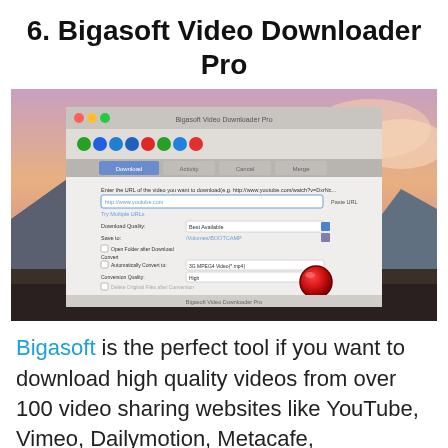6. Bigasoft Video Downloader Pro
[Figure (screenshot): Screenshot of Bigasoft Video Downloader Pro application on macOS, showing the download interface with URL input field, download quality selector, save-to path, conversion options, and a red record button. Background shows a macOS mountain/sunset wallpaper.]
Bigasoft is the perfect tool if you want to download high quality videos from over 100 video sharing websites like YouTube, Vimeo, Dailymotion, Metacafe, Collegehumor, Thi...